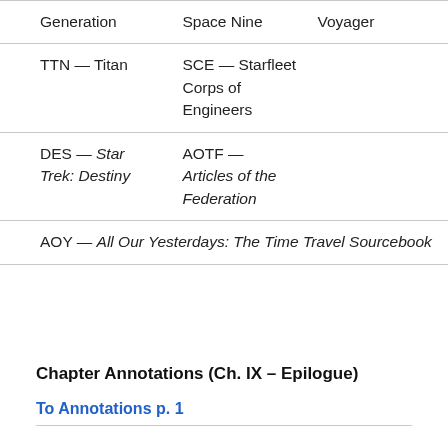|  |  |  |
| --- | --- | --- |
| Generation | Space Nine | Voyager |
| TTN — Titan | SCE — Starfleet Corps of Engineers |  |
| DES — Star Trek: Destiny | AOTF — Articles of the Federation |  |
| AOY — All Our Yesterdays: The Time Travel Sourcebook |  |  |
Chapter Annotations (Ch. IX – Epilogue)
To Annotations p. 1